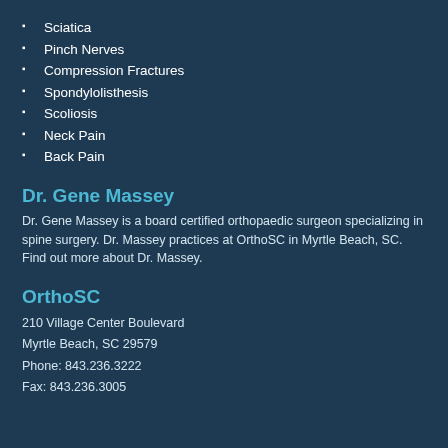Sciatica
Pinch Nerves
Compression Fractures
Spondylolisthesis
Scoliosis
Neck Pain
Back Pain
Dr. Gene Massey
Dr. Gene Massey is a board certified orthopaedic surgeon specializing in spine surgery. Dr. Massey practices at OrthoSC in Myrtle Beach, SC. Find out more about Dr. Massey.
OrthoSC
210 Village Center Boulevard
Myrtle Beach, SC 29579
Phone: 843.236.3222
Fax: 843.236.3005